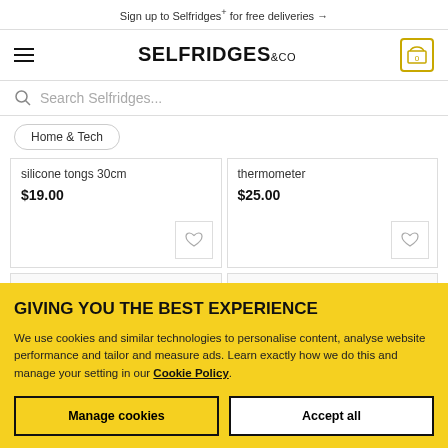Sign up to Selfridges+ for free deliveries →
SELFRIDGES&CO
Search Selfridges...
Home & Tech
silicone tongs 30cm
$19.00
thermometer
$25.00
GIVING YOU THE BEST EXPERIENCE
We use cookies and similar technologies to personalise content, analyse website performance and tailor and measure ads. Learn exactly how we do this and manage your setting in our Cookie Policy.
Manage cookies
Accept all